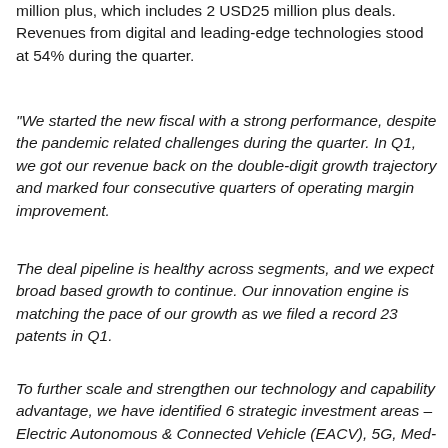million plus, which includes 2 USD25 million plus deals. Revenues from digital and leading-edge technologies stood at 54% during the quarter.
“We started the new fiscal with a strong performance, despite the pandemic related challenges during the quarter. In Q1, we got our revenue back on the double-digit growth trajectory and marked four consecutive quarters of operating margin improvement.
The deal pipeline is healthy across segments, and we expect broad based growth to continue. Our innovation engine is matching the pace of our growth as we filed a record 23 patents in Q1.
To further scale and strengthen our technology and capability advantage, we have identified 6 strategic investment areas – Electric Autonomous & Connected Vehicle (EACV), 5G, Med-